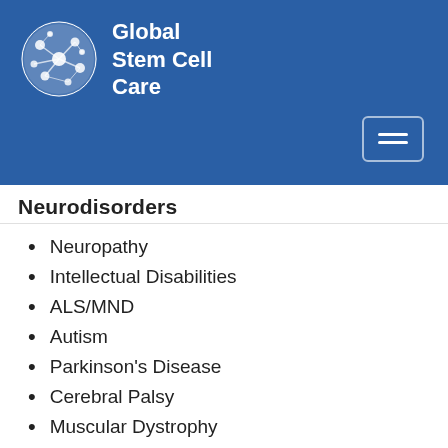[Figure (logo): Global Stem Cell Care logo with circular cell illustration and white text on blue background]
Neurodisorders
Neuropathy
Intellectual Disabilities
ALS/MND
Autism
Parkinson's Disease
Cerebral Palsy
Muscular Dystrophy
Alzheimer's disease
Brain Injury
Multiple Sclerosis
Stroke
Spinal Muscular Atrophy